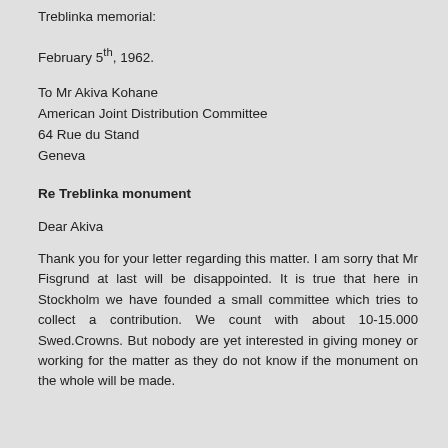Treblinka memorial:
February 5th, 1962.
To Mr Akiva Kohane
American Joint Distribution Committee
64 Rue du Stand
Geneva
Re Treblinka monument
Dear Akiva
Thank you for your letter regarding this matter. I am sorry that Mr Fisgrund at last will be disappointed. It is true that here in Stockholm we have founded a small committee which tries to collect a contribution. We count with about 10-15.000 Swed.Crowns. But nobody are yet interested in giving money or working for the matter as they do not know if the monument on the whole will be made.